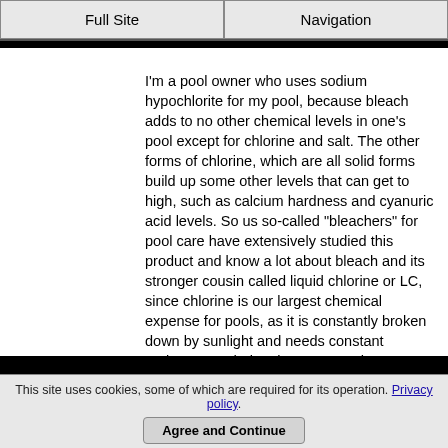Full Site | Navigation
I'm a pool owner who uses sodium hypochlorite for my pool, because bleach adds to no other chemical levels in one's pool except for chlorine and salt. The other forms of chlorine, which are all solid forms build up some other levels that can get to high, such as calcium hardness and cyanuric acid levels. So us so-called "bleachers" for pool care have extensively studied this product and know a lot about bleach and its stronger cousin called liquid chlorine or LC, since chlorine is our largest chemical expense for pools, as it is constantly broken down by sunlight and needs constant replacement during the season. The stronger product called liquid chlorine is the exact same thing as bleach, just at a higher percentage of sodium hypochlorite in the jug; usually 10-12 percent; whereas laundry bleach is generally 6%-7.5% as of the time of this writing, but is just as good for pools; you just have to use more product to add the same amount of chlorine. For pool owners who use sodium hypochlorite, there are three main factors to consider. Firstly, with pool care, it is only the sodium hypochlorite
This site uses cookies, some of which are required for its operation. Privacy policy.
Agree and Continue